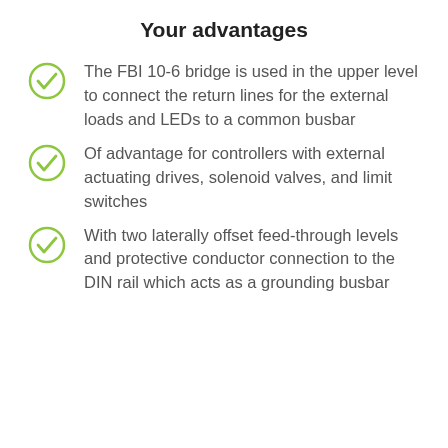Your advantages
The FBI 10-6 bridge is used in the upper level to connect the return lines for the external loads and LEDs to a common busbar
Of advantage for controllers with external actuating drives, solenoid valves, and limit switches
With two laterally offset feed-through levels and protective conductor connection to the DIN rail which acts as a grounding busbar